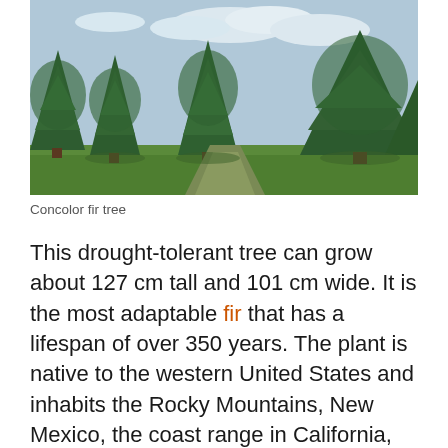[Figure (photo): A row of tall concolor fir trees with dense blue-green foliage on a grassy lawn, with a pathway visible between them and a partly cloudy sky in the background.]
Concolor fir tree
This drought-tolerant tree can grow about 127 cm tall and 101 cm wide. It is the most adaptable fir that has a lifespan of over 350 years. The plant is native to the western United States and inhabits the Rocky Mountains, New Mexico, the coast range in California, and Oregon.